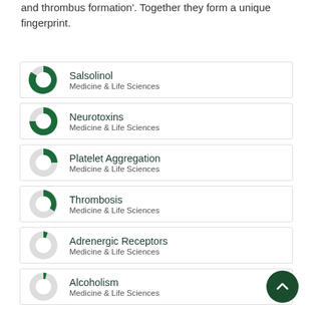and thrombus formation'. Together they form a unique fingerprint.
Salsolinol — Medicine & Life Sciences
Neurotoxins — Medicine & Life Sciences
Platelet Aggregation — Medicine & Life Sciences
Thrombosis — Medicine & Life Sciences
Adrenergic Receptors — Medicine & Life Sciences
Alcoholism — Medicine & Life Sciences